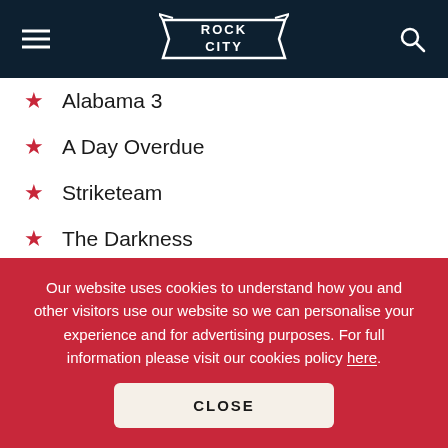ROCK CITY
Alabama 3
A Day Overdue
Striketeam
The Darkness
The Eyes of a Traitor
Example
The Feeli...
Our website uses cookies to understand how you and other visitors use our website so we can personalise your experience and for advertising purposes. For full information please visit our cookies policy here.
CLOSE